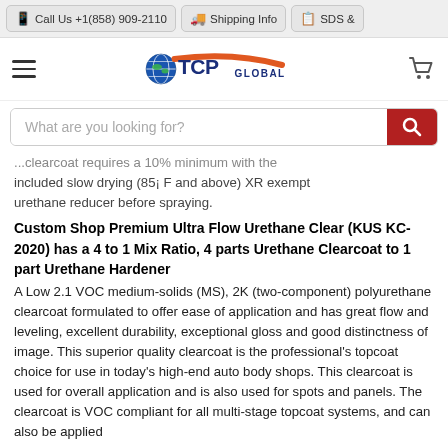📱 Call Us +1(858) 909-2110 | 🚚 Shipping Info | 📋 SDS &
[Figure (logo): TCP Global logo with globe icon, TCP text in dark blue, GLOBAL in dark blue smaller text, with orange/red swoosh accent]
What are you looking for? [search bar with red search button]
...clearcoat requires a 10% minimum with the included slow drying (85¡ F and above) XR exempt urethane reducer before spraying.
Custom Shop Premium Ultra Flow Urethane Clear (KUS KC-2020) has a 4 to 1 Mix Ratio, 4 parts Urethane Clearcoat to 1 part Urethane Hardener
A Low 2.1 VOC medium-solids (MS), 2K (two-component) polyurethane clearcoat formulated to offer ease of application and has great flow and leveling, excellent durability, exceptional gloss and good distinctness of image. This superior quality clearcoat is the professional's topcoat choice for use in today's high-end auto body shops. This clearcoat is used for overall application and is also used for spots and panels. The clearcoat is VOC compliant for all multi-stage topcoat systems, and can also be applied